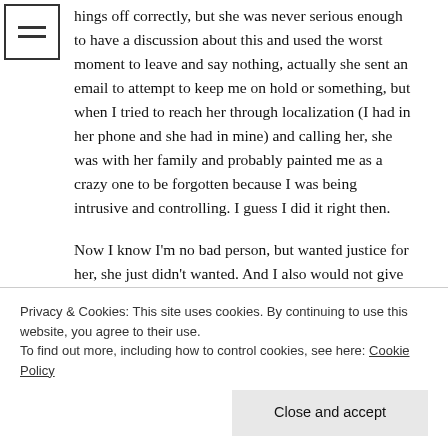hings off correctly, but she was never serious enough to have a discussion about this and used the worst moment to leave and say nothing, actually she sent an email to attempt to keep me on hold or something, but when I tried to reach her through localization (I had in her phone and she had in mine) and calling her, she was with her family and probably painted me as a crazy one to be forgotten because I was being intrusive and controlling. I guess I did it right then.

Now I know I'm no bad person, but wanted justice for her, she just didn't wanted. And I also would not give anything to her if she didn't change, since I knew what I was dealing with (abuse, belittling and defamation ensued as soon as possible in the beginning of the relationship and also with her family
Privacy & Cookies: This site uses cookies. By continuing to use this website, you agree to their use.
To find out more, including how to control cookies, see here: Cookie Policy
Close and accept